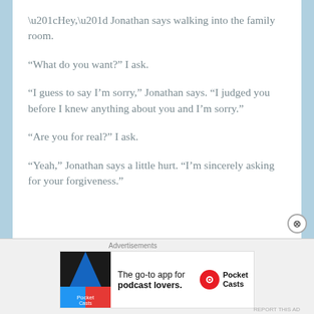“Hey,” Jonathan says walking into the family room.
“What do you want?” I ask.
“I guess to say I’m sorry,” Jonathan says. “I judged you before I knew anything about you and I’m sorry.”
“Are you for real?” I ask.
“Yeah,” Jonathan says a little hurt. “I’m sincerely asking for your forgiveness.”
[Figure (other): Advertisement banner for Pocket Casts podcast app with logo and tagline 'The go-to app for podcast lovers.']